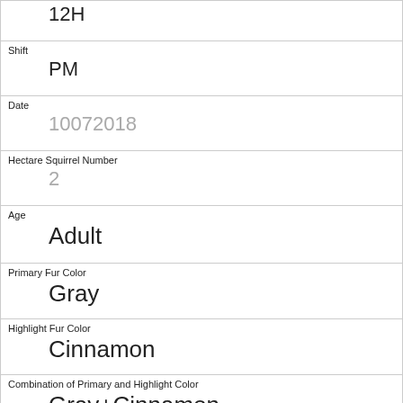| 12H |
| Shift | PM |
| Date | 10072018 |
| Hectare Squirrel Number | 2 |
| Age | Adult |
| Primary Fur Color | Gray |
| Highlight Fur Color | Cinnamon |
| Combination of Primary and Highlight Color | Gray+Cinnamon |
| Color notes |  |
| Location | Above Ground |
| Above Ground Sighter Measurement |  |